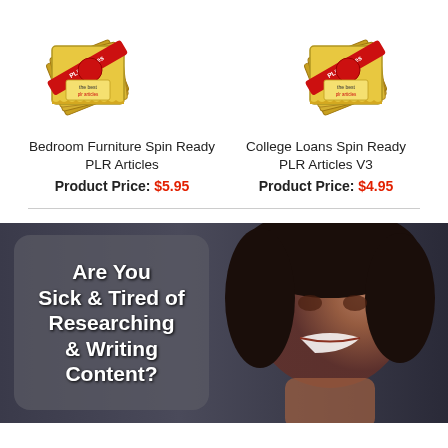[Figure (illustration): Stack of golden PLR article packets with red wax seal and red ribbon - Bedroom Furniture product]
Bedroom Furniture Spin Ready PLR Articles
Product Price: $5.95
[Figure (illustration): Stack of golden PLR article packets with red wax seal and red ribbon - College Loans product]
College Loans Spin Ready PLR Articles V3
Product Price: $4.95
[Figure (photo): Promotional banner showing frustrated woman and text: Are You Sick & Tired of Researching & Writing Content?]